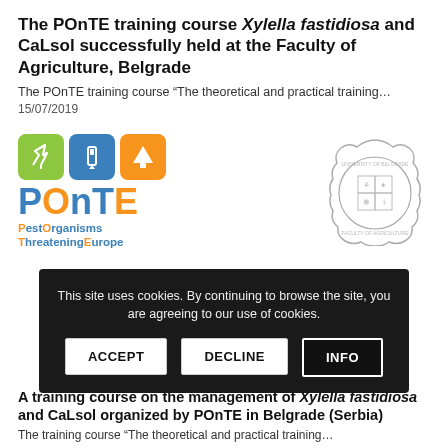The POnTE training course Xylella fastidiosa and CaLsol successfully held at the Faculty of Agriculture, Belgrade
The POnTE training course “The theoretical and practical training…
15/07/2019
[Figure (logo): POnTE project logo with three colored icon boxes (green, blue, orange) and multicolor wordmark with tagline PestOrganisms ThreateningEurope]
[Figure (logo): Faculty of Agriculture Belgrade circular institutional seal/logo in light gray outline]
This site uses cookies. By continuing to browse the site, you are agreeing to our use of cookies.
ACCEPT   DECLINE   INFO
A training course on the management of Xylella fastidiosa and CaLsol organized by POnTE in Belgrade (Serbia)
The training course “The theoretical and practical training…